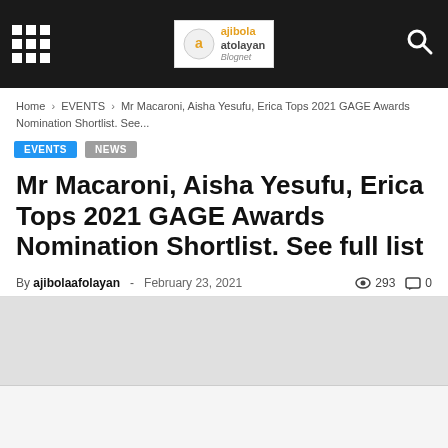ajibola atolayan blognet — navigation header with grid menu, logo, search icon
Home › EVENTS › Mr Macaroni, Aisha Yesufu, Erica Tops 2021 GAGE Awards Nomination Shortlist. See...
EVENTS
NEWS
Mr Macaroni, Aisha Yesufu, Erica Tops 2021 GAGE Awards Nomination Shortlist. See full list
By ajibolaafolayan - February 23, 2021  293  0
[Figure (photo): Article image placeholder / advertisement area]